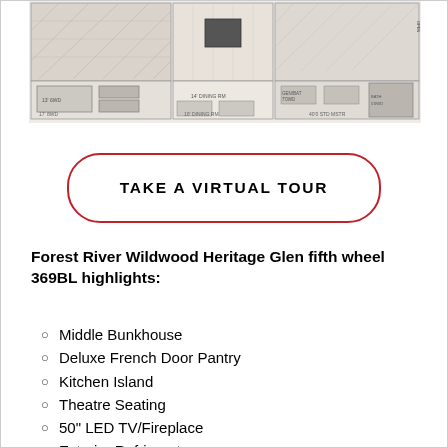[Figure (schematic): Floor plan schematic of Forest River Wildwood Heritage Glen fifth wheel 369BL showing room layout from above with labeled areas]
TAKE A VIRTUAL TOUR
Forest River Wildwood Heritage Glen fifth wheel 369BL highlights:
Middle Bunkhouse
Deluxe French Door Pantry
Kitchen Island
Theatre Seating
50" LED TV/Fireplace
Exterior Refrigerator